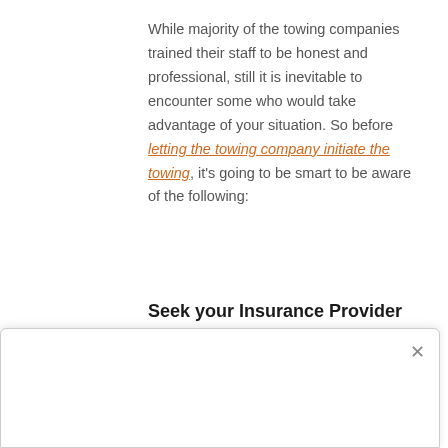While majority of the towing companies trained their staff to be honest and professional, still it is inevitable to encounter some who would take advantage of your situation. So before letting the towing company initiate the towing, it's going to be smart to be aware of the following:
Seek your Insurance Provider
Even if it is outside business hours, you should try to reach out with your insurance provider. They can tell give you